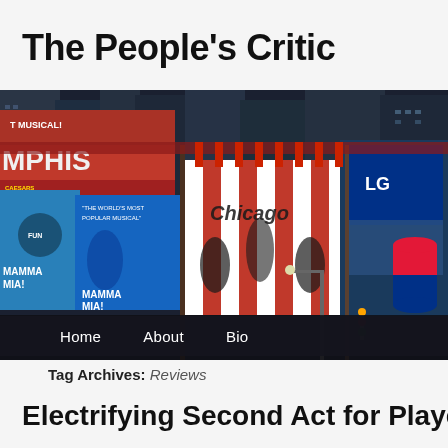The People's Critic
[Figure (photo): Times Square Broadway billboard scene showing Mamma Mia and other musical advertisements with a navigation bar overlay showing Home, About, Bio]
Home   About   Bio
Tag Archives: Reviews
Electrifying Second Act for Players' powe